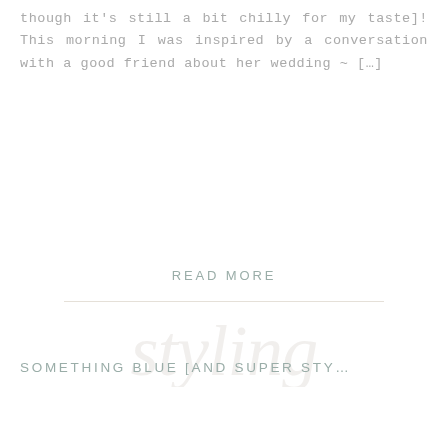though it's still a bit chilly for my taste]! This morning I was inspired by a conversation with a good friend about her wedding ~ […]
READ MORE
SOMETHING BLUE [AND SUPER STY…